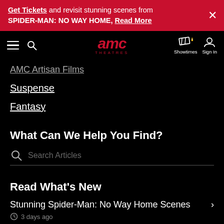Get Tickets and revisit stunning scenes from SPIDER-MAN: NO WAY HOME, Read More
[Figure (logo): AMC Theatres logo with navigation bar including hamburger menu, search icon, showtimes ticket icon, and sign in icon]
AMC Artisan Films
Suspense
Fantasy
What Can We Help You Find?
Search Articles
Read What's New
Stunning Spider-Man: No Way Home Scenes
3 days ago